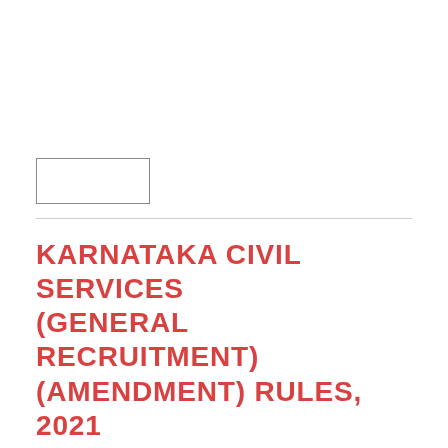[Figure (other): Empty rectangular box outline, likely a placeholder for a logo or seal]
KARNATAKA CIVIL SERVICES (GENERAL RECRUITMENT) (AMENDMENT) RULES, 2021